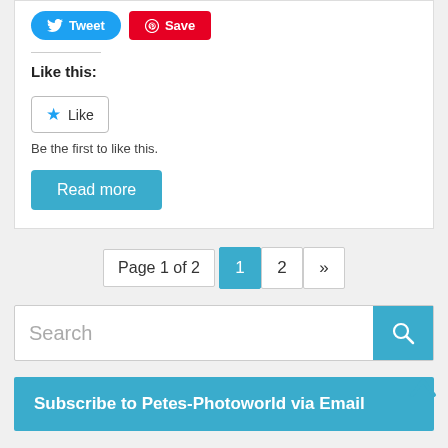[Figure (screenshot): Social sharing buttons: Tweet (blue, Twitter bird icon) and Save (red, Pinterest icon)]
Like this:
[Figure (screenshot): WordPress Like button with star icon]
Be the first to like this.
[Figure (screenshot): Read more button in teal/blue]
Page 1 of 2  1  2  »
[Figure (screenshot): Search bar with teal search icon button]
Subscribe to Petes-Photoworld via Email